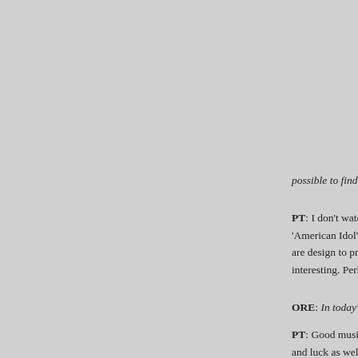Lith... any... you...
PT: But... Eur... Ma... mig... mo...
ORE: cra... Ver... Wh... mu...
possible to find really talented people there?
PT: I don't watch reality shows. I am not convinced 'American Idol' is a good place to find real musical t... are design to produce disposable pop icons and... interesting. Perhaps I am too old fashioned.
ORE: In today's world, is making good music enough...
PT: Good music alone has never been enough. It ha... and luck as well. Moreover, ever since the music vide... marketing of popular music, one needs to be chari...